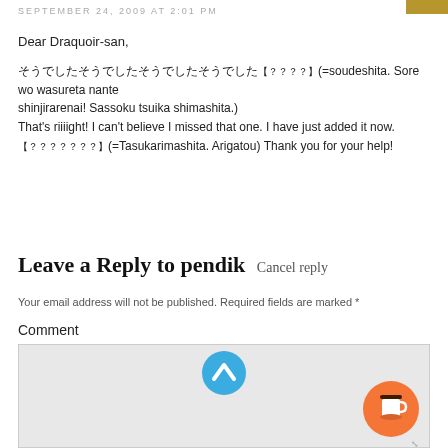SEPTEMBER 24, 2009 AT 2:01 PM
Dear Draquoir-san,

[Japanese text](=soudeshita. Sore wo wasureta nante shinjirarenai! Sassoku tsuika shimashita.)
That's riiiight! I can't believe I missed that one. I have just added it now.
[Japanese text](=Tasukarimashita. Arigatou) Thank you for your help!
Leave a Reply to pendik Cancel reply
Your email address will not be published. Required fields are marked *
Comment
[Figure (other): Comment textarea input box (light grey background)]
[Figure (other): Scroll to top button (blue circle with upward chevron)]
[Figure (other): Buy me a coffee button (orange circle with coffee cup icon)]